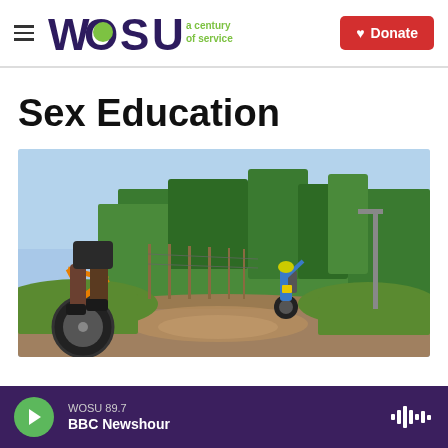WOSU a century of service | Donate
Sex Education
[Figure (photo): Two mountain bikers on a dirt trail surrounded by trees and greenery; the foreground biker is close-up showing legs and an orange bike, while a second biker further back raises one hand]
WOSU 89.7 BBC Newshour